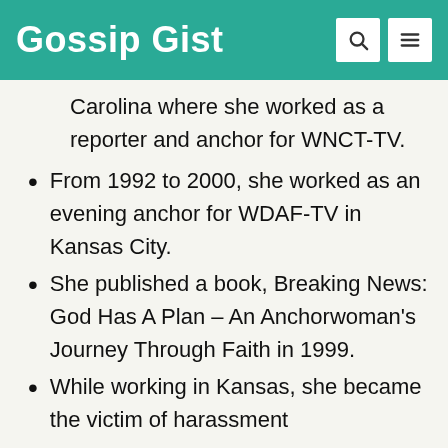Gossip Gist
Carolina where she worked as a reporter and anchor for WNCT-TV.
From 1992 to 2000, she worked as an evening anchor for WDAF-TV in Kansas City.
She published a book, Breaking News: God Has A Plan - An Anchorwoman's Journey Through Faith in 1999.
While working in Kansas, she became the victim of harassment